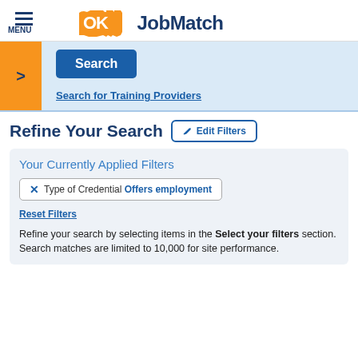MENU | OK JobMatch
Search
Search for Training Providers
Refine Your Search
Edit Filters
Your Currently Applied Filters
✕ Type of Credential Offers employment
Reset Filters
Refine your search by selecting items in the Select your filters section. Search matches are limited to 10,000 for site performance.